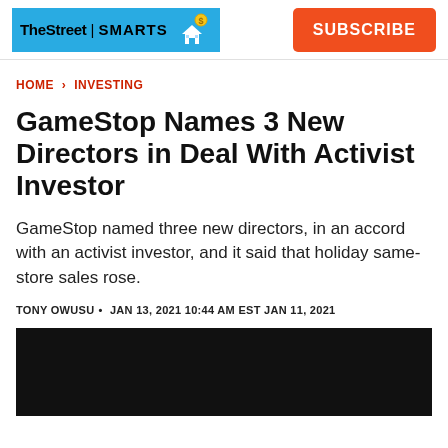TheStreet | SMARTS — SUBSCRIBE
HOME > INVESTING
GameStop Names 3 New Directors in Deal With Activist Investor
GameStop named three new directors, in an accord with an activist investor, and it said that holiday same-store sales rose.
TONY OWUSU • JAN 13, 2021 10:44 AM EST JAN 11, 2021
[Figure (photo): Dark/black image placeholder at bottom of article]